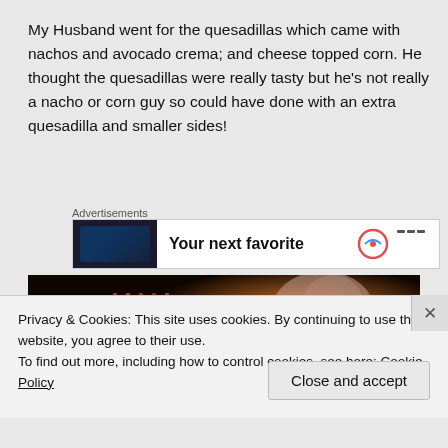My Husband went for the quesadillas which came with nachos and avocado crema; and cheese topped corn. He thought the quesadillas were really tasty but he's not really a nacho or corn guy so could have done with an extra quesadilla and smaller sides!
Advertisements
[Figure (screenshot): Advertisement banner showing dark image on left and bold text 'Your next favorite' with a colorful icon on right, on white background]
[Figure (photo): Dark photo showing warm amber/orange light patterns against a very dark background, partially visible person]
Privacy & Cookies: This site uses cookies. By continuing to use this website, you agree to their use.
To find out more, including how to control cookies, see here: Cookie Policy
Close and accept